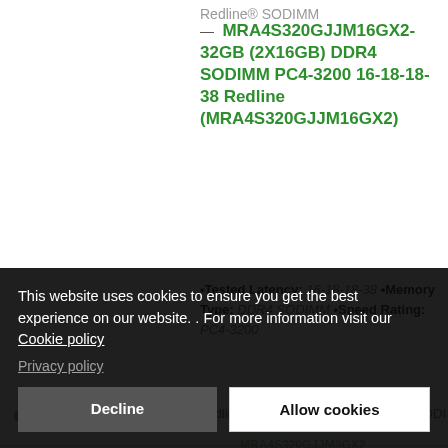Redline® SODIMM
— MRA4S320GJJM16GX2-32GB (2X16GB) DDR4 SODIMM PC4-3200 16-18-18-38 Redline (MRA4S320GJJM16GX2)
•Tested Latency: 16-18-18-38 •Memory Type: DDR4 SODIMM •Speed Rating: PC4-3200
MRA4S320GJJM8GX2
Redline® SODIMM
DD
This website uses cookies to ensure you get the best experience on our website. . For more information visit our Cookie policy Privacy policy
Decline
Allow cookies